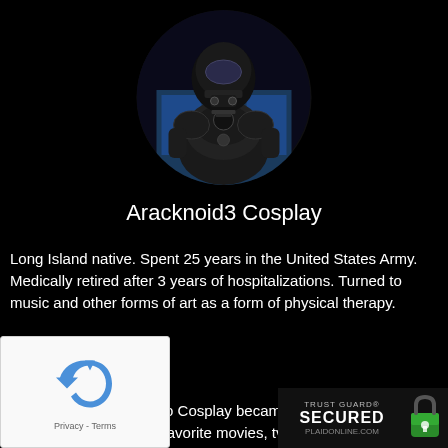[Figure (photo): Circular profile photo of a person in an elaborate black sci-fi/cosplay armor costume with a helmet, in what appears to be an indoor setting with blue-lit background]
Aracknoid3 Cosplay
Long Island native. Spent 25 years in the United States Army. Medically retired after 3 years of hospitalizations. Turned to music and other forms of art as a form of physical therapy.
After being introduced to Cosplay became thrilled at the of creating things from favorite movies, tv shows o games. Now attends con all ov invite her ent
[Figure (logo): Accessibility wheelchair icon - red circle with white wheelchair user symbol]
[Figure (other): reCAPTCHA widget overlay showing the reCAPTCHA logo arrows and Privacy - Terms text]
[Figure (logo): Trust Guard Secured badge with padlock icon and PLAIDONLINE.COM text]